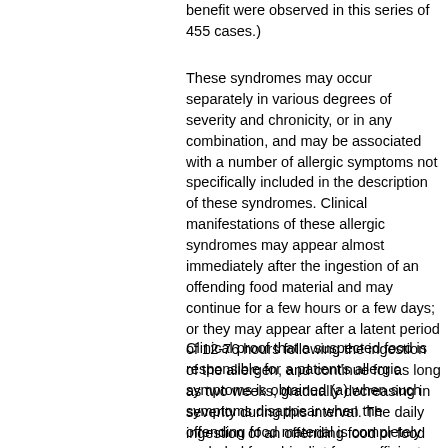benefit were observed in this series of 455 cases.)
These syndromes may occur separately in various degrees of severity and chronicity, or in any combination, and may be associated with a number of allergic symptoms not specifically included in the description of these syndromes. Clinical manifestations of these allergic syndromes may appear almost immediately after the ingestion of an offending food material and may continue for a few hours or a few days; or they may appear after a latent period of 12-76 hours following the ingestion of the allergen, and continue for as long as two weeks, gradually decreasing in severity during this interval. The daily ingestion of an offending food or food material produces a more or less steady state of allergic symptoms, with some exacerbation of these symptoms soon after the ingestion of this food.
Clinical proof that a suspected food is responsible for a patient's allergic symptoms is obtained (a) when such symptoms disappear when the offending food material is completely excluded from his diet for a sufficient period of time (2-3 weeks), and (b) when there is a recurrence of the initial pattern